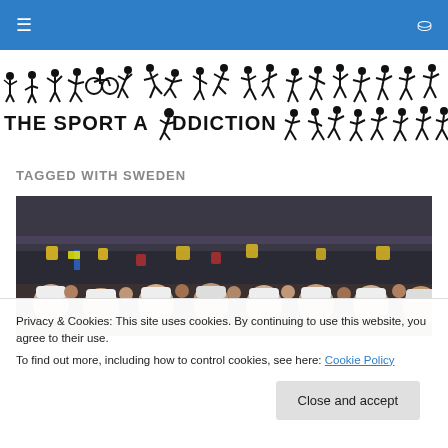Navigation bar with menu and search icons
[Figure (logo): The Sport Addiction logo with sports silhouettes and bold text]
TAGGED WITH SWEDEN
[Figure (photo): Crowd of sports fans in an arena, some wearing yellow Sweden jerseys and white caps]
Privacy & Cookies: This site uses cookies. By continuing to use this website, you agree to their use.
To find out more, including how to control cookies, see here: Cookie Policy
Close and accept